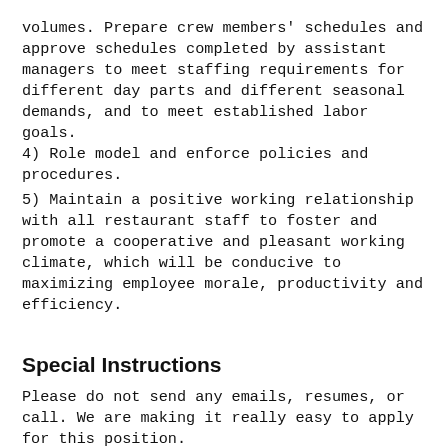volumes. Prepare crew members' schedules and approve schedules completed by assistant managers to meet staffing requirements for different day parts and different seasonal demands, and to meet established labor goals.
4) Role model and enforce policies and procedures.
5) Maintain a positive working relationship with all restaurant staff to foster and promote a cooperative and pleasant working climate, which will be conducive to maximizing employee morale, productivity and efficiency.
Special Instructions
Please do not send any emails, resumes, or call. We are making it really easy to apply for this position.
Simply submit a ZippyApp application package which may include the Common Employment Application, Resume, and a Cover Letter. In your Cover Letter,